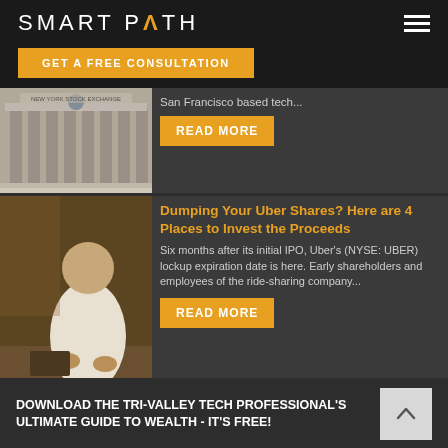SMART PATH
GET A FREE CONSULTATION
San Francisco based tech...
READ MORE
Dumping Your Uber Shares? Here are 4 Places to Invest the Proceeds
Six months after its initial IPO, Uber's (NYSE: UBER) lockup expiration date is here. Early shareholders and employees of the ride-sharing company...
READ MORE
DOWNLOAD THE TRI-VALLEY TECH PROFESSIONAL'S ULTIMATE GUIDE TO WEALTH - IT'S FREE!